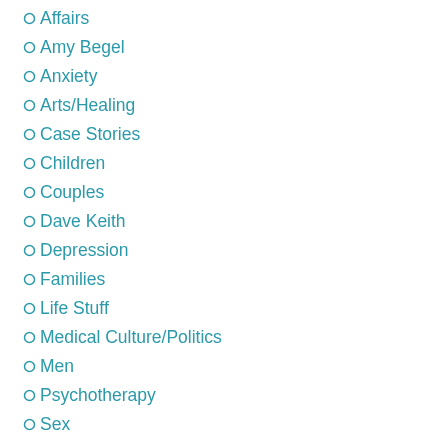Affairs
Amy Begel
Anxiety
Arts/Healing
Case Stories
Children
Couples
Dave Keith
Depression
Families
Life Stuff
Medical Culture/Politics
Men
Psychotherapy
Sex